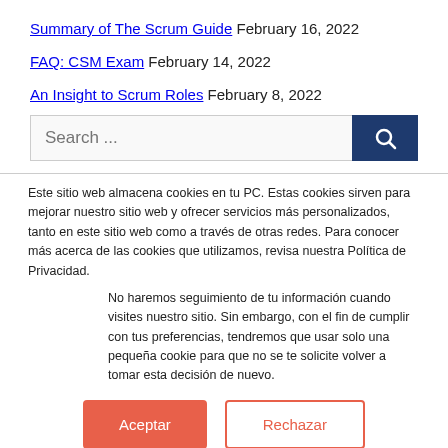Summary of The Scrum Guide February 16, 2022
FAQ: CSM Exam February 14, 2022
An Insight to Scrum Roles February 8, 2022
Search ...
Este sitio web almacena cookies en tu PC. Estas cookies sirven para mejorar nuestro sitio web y ofrecer servicios más personalizados, tanto en este sitio web como a través de otras redes. Para conocer más acerca de las cookies que utilizamos, revisa nuestra Política de Privacidad.
No haremos seguimiento de tu información cuando visites nuestro sitio. Sin embargo, con el fin de cumplir con tus preferencias, tendremos que usar solo una pequeña cookie para que no se te solicite volver a tomar esta decisión de nuevo.
Aceptar
Rechazar